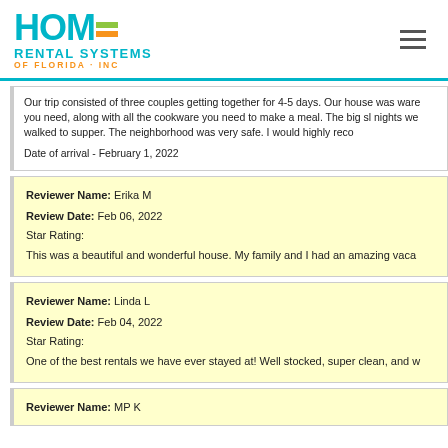HOME RENTAL SYSTEMS OF FLORIDA · INC
Our trip consisted of three couples getting together for 4-5 days. Our house was ... ware you need, along with all the cookware you need to make a meal. The big sh... nights we walked to supper. The neighborhood was very safe. I would highly reco...
Date of arrival - February 1, 2022
Reviewer Name: Erika M
Review Date: Feb 06, 2022
Star Rating:
This was a beautiful and wonderful house. My family and I had an amazing vaca...
Reviewer Name: Linda L
Review Date: Feb 04, 2022
Star Rating:
One of the best rentals we have ever stayed at! Well stocked, super clean, and w...
Reviewer Name: MP K